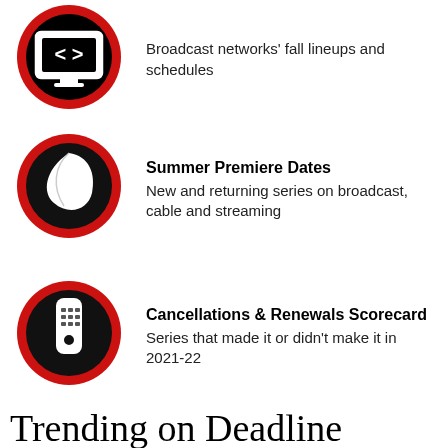Broadcast networks' fall lineups and schedules
Summer Premiere Dates
New and returning series on broadcast, cable and streaming
Cancellations & Renewals Scorecard
Series that made it or didn't make it in 2021-22
Trending on Deadline